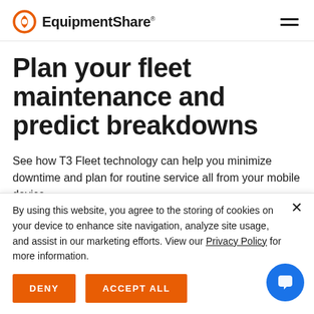EquipmentShare
Plan your fleet maintenance and predict breakdowns
See how T3 Fleet technology can help you minimize downtime and plan for routine service all from your mobile device.
By using this website, you agree to the storing of cookies on your device to enhance site navigation, analyze site usage, and assist in our marketing efforts. View our Privacy Policy for more information.